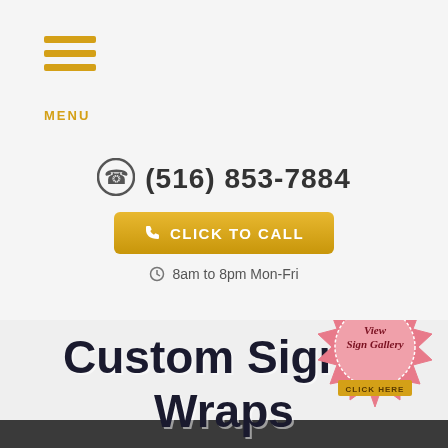[Figure (logo): Hamburger menu icon with three horizontal golden/yellow lines and MENU label below]
(516) 853-7884
CLICK TO CALL
8am to 8pm Mon-Fri
Custom Signs, Wraps and Graphics Design, Production and Install
[Figure (illustration): Pink decorative seal/badge with text 'View Sign Gallery CLICK HERE' in gold and dark lettering]